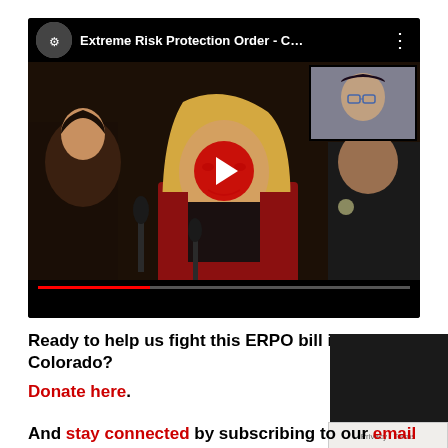[Figure (screenshot): YouTube video thumbnail showing a blonde woman speaking at a podium with microphones, title 'Extreme Risk Protection Order - C...' with YouTube logo and a picture-in-picture overlay of another woman wearing glasses. A red play button is visible in the center. A progress bar is shown at the bottom.]
Ready to help us fight this ERPO bill in Colorado?
Donate here.
And stay connected by subscribing to our email